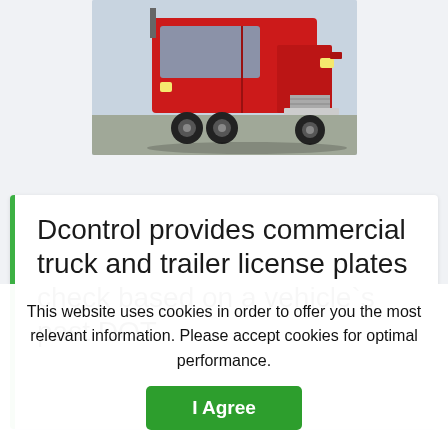[Figure (photo): Red commercial semi-truck cab photographed from the front-left angle in a parking lot, showing the front grille, headlights, and dual rear axles.]
Dcontrol provides commercial truck and trailer license plates check based on a vehicle`s past DOT
This website uses cookies in order to offer you the most relevant information. Please accept cookies for optimal performance.
I Agree